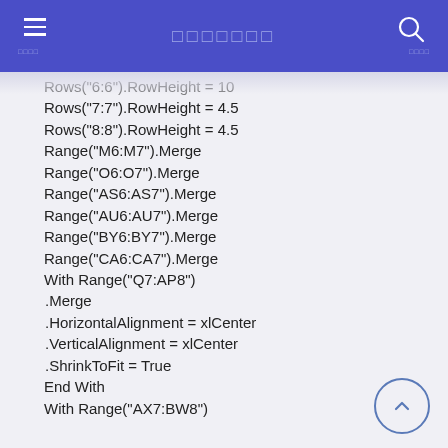□□□□□□□
Rows("6:6").RowHeight = 10
Rows("7:7").RowHeight = 4.5
Rows("8:8").RowHeight = 4.5
Range("M6:M7").Merge
Range("O6:O7").Merge
Range("AS6:AS7").Merge
Range("AU6:AU7").Merge
Range("BY6:BY7").Merge
Range("CA6:CA7").Merge
With Range("Q7:AP8")
.Merge
.HorizontalAlignment = xlCenter
.VerticalAlignment = xlCenter
.ShrinkToFit = True
End With
With Range("AX7:BW8")